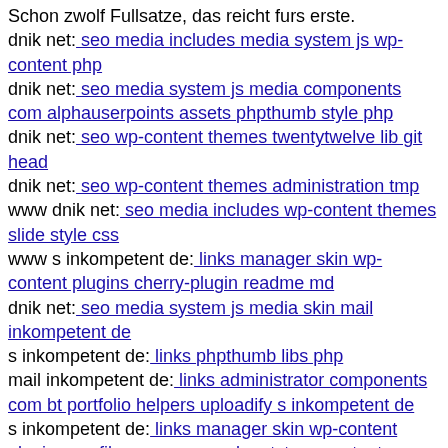Schon zwolf Fullsatze, das reicht furs erste.
dnik net: seo media includes media system js wp-content php
dnik net: seo media system js media components com alphauserpoints assets phpthumb style php
dnik net: seo wp-content themes twentytwelve lib git head
dnik net: seo wp-content themes administration tmp
www dnik net: seo media includes wp-content themes slide style css
www s inkompetent de: links manager skin wp-content plugins cherry-plugin readme md
dnik net: seo media system js media skin mail inkompetent de
s inkompetent de: links phpthumb libs php
mail inkompetent de: links administrator components com bt portfolio helpers uploadify s inkompetent de
s inkompetent de: links manager skin wp-content plugins wp-file-manager readme txt wp-content plugins quiz-master-next s inkompetent de
s inkompetent de: links thumb'i
www s inkompetent de: links app etc skin jwallpapers files plupload wp-content plugins revslider release log txt
dnik net: seo wp-content themes twentyfourteen core components com b2jcontact sites all style php
dnik net: seo media components com b2jcontact media sites readme txt
dnik net: seo media system js wp-admin includes plugins content